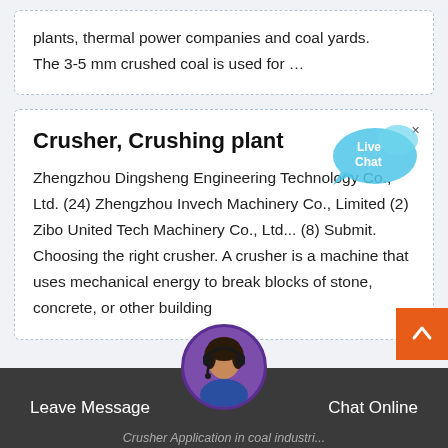plants, thermal power companies and coal yards. The 3-5 mm crushed coal is used for …
Crusher, Crushing plant
Zhengzhou Dingsheng Engineering Technology Co., Ltd. (24) Zhengzhou Invech Machinery Co., Limited (2) Zibo United Tech Machinery Co., Ltd... (8) Submit. Choosing the right crusher. A crusher is a machine that uses mechanical energy to break blocks of stone, concrete, or other building
[Figure (illustration): Live Chat speech bubble icon with 'Live Chat' text in blue/cyan tones]
[Figure (photo): Customer service avatar - woman with headset in circular frame]
Leave Message   Chat Online
Crusher Application in coal industri...